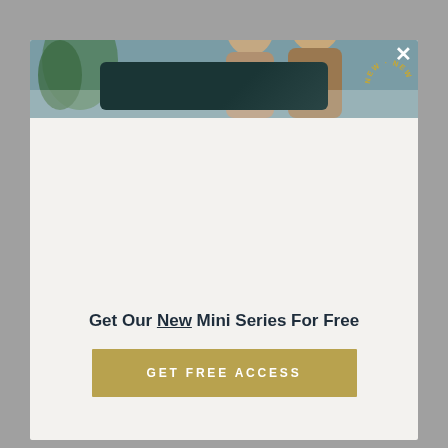[Figure (photo): Modal popup overlay on grey background. Top portion shows a couple (man and woman) with a plant, teal background. Below is a dark tablet/device image. A gold 'NEW · NEW · NEW' circular badge appears top right.]
Get Our New Mini Series For Free
GET FREE ACCESS